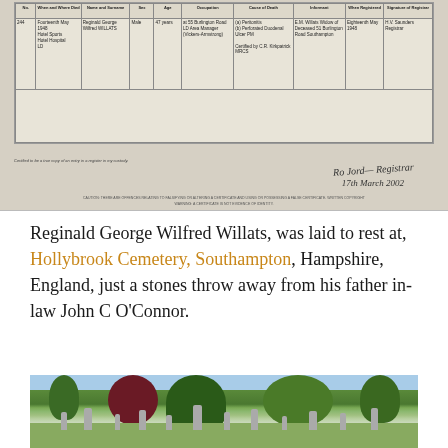[Figure (other): Scanned death register certificate excerpt showing entry 244 for Reginald George Wilfred Willats, Fourteenth May 1948, Male, 47 years, at 55 Burlington Road LD Area Manager (Vickers-Armstrong), (a) Peritonitis (b) Perforated Duodenal Ulcer PM, certified by C.R. Kirkpatrick MRCS. E.M. Willats Widow of Deceased 51 Burlington Road Southampton. Eighteenth May 1948. H.V. Saunders Registrar. Certified to be a true copy of an entry in a register in my custody. Signature dated 17th March 2002. Caution and warning text at bottom.]
Reginald George Wilfred Willats, was laid to rest at, Hollybrook Cemetery, Southampton, Hampshire, England, just a stones throw away from his father in-law John C O’Connor.
[Figure (photo): Photograph of Hollybrook Cemetery, Southampton showing gravestones and headstones in foreground with large trees and green foliage in the background.]